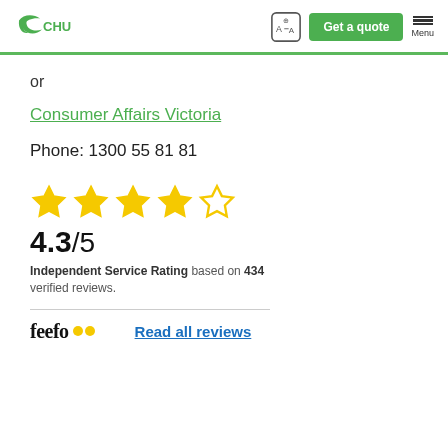CHU — Get a quote — Menu
or
Consumer Affairs Victoria
Phone: 1300 55 81 81
[Figure (other): 4.3 out of 5 star rating with 4 filled stars and 1 outline star, showing 4.3/5 Independent Service Rating based on 434 verified reviews, with Feefo logo and Read all reviews link]